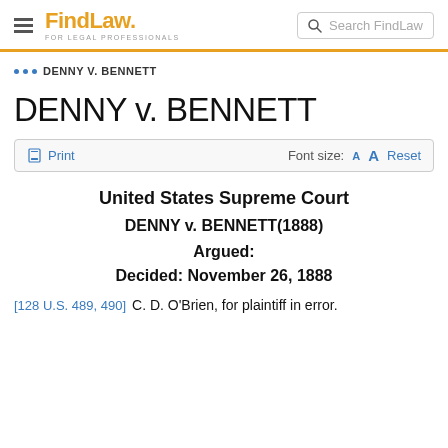FindLaw FOR LEGAL PROFESSIONALS | Search FindLaw
... DENNY V. BENNETT
DENNY v. BENNETT
Print | Font size: A A Reset
United States Supreme Court
DENNY v. BENNETT(1888)
Argued:
Decided: November 26, 1888
[128 U.S. 489, 490]  C. D. O'Brien, for plaintiff in error.